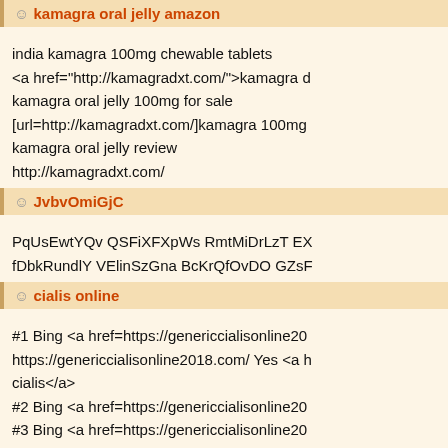kamagra oral jelly amazon
india kamagra 100mg chewable tablets
<a href="http://kamagradxt.com/">kamagra d
kamagra oral jelly 100mg for sale
[url=http://kamagradxt.com/]kamagra 100mg
kamagra oral jelly review
http://kamagradxt.com/
come si usa kamagra oral jelly
JvbvOmiGjC
PqUsEwtYQv QSFiXFXpWs RmtMiDrLzT EX
fDbkRundlY VElinSzGna BcKrQfOvDO GZsF
cialis online
#1 Bing <a href=https://genericcialisonline20
https://genericcialisonline2018.com/ Yes <a h
cialis</a>
#2 Bing <a href=https://genericcialisonline20
#3 Bing <a href=https://genericcialisonline20
#4 Bing <a href=https://genericcialisonline20
One other thing is that an online business ad